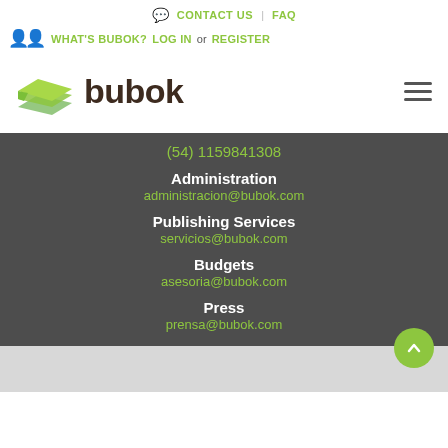CONTACT US | FAQ
WHAT'S BUBOK? LOG IN or REGISTER
[Figure (logo): Bubok logo with green stacked pages icon and dark brown bubok wordmark, plus hamburger menu icon on right]
(54) 1159841308
Administration
administracion@bubok.com
Publishing Services
servicios@bubok.com
Budgets
asesoria@bubok.com
Press
prensa@bubok.com